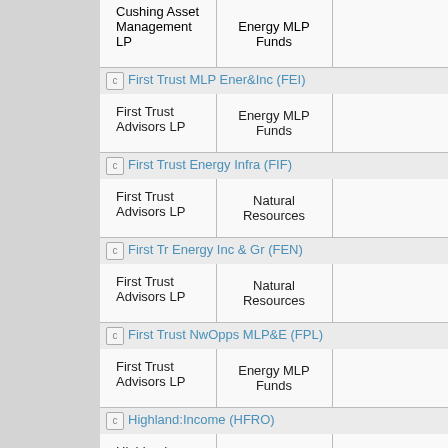| Fund / Manager | Category |  |
| --- | --- | --- |
| Cushing Asset Management LP | Energy MLP Funds |  |
| [c] First Trust MLP Ener&Inc (FEI) |  |  |
| First Trust Advisors LP | Energy MLP Funds |  |
| [c] First Trust Energy Infra (FIF) |  |  |
| First Trust Advisors LP | Natural Resources |  |
| [c] First Tr Energy Inc & Gr (FEN) |  |  |
| First Trust Advisors LP | Natural Resources |  |
| [c] First Trust NwOpps MLP&E (FPL) |  |  |
| First Trust Advisors LP | Energy MLP Funds |  |
| [c] Highland:Income (HFRO) |  |  |
| Highland Capital Mgmt Fund Advisors LP | Loan Participation |  |
| [c] Highland:Global Alloc (HGLB) |  |  |
| Highland Capital Mgmt Fund Advisors LP | Global |  |